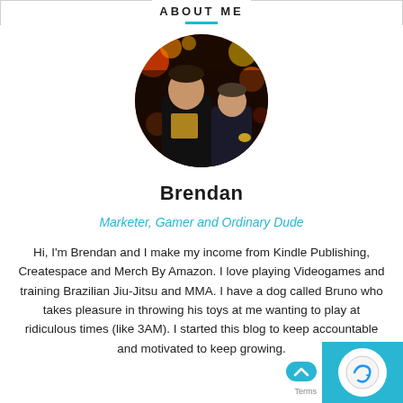ABOUT ME
[Figure (photo): Circular profile photo of two men at a party with colorful bokeh background. One man is taller wearing a black jacket, the other is shorter also in dark clothing.]
Brendan
Marketer, Gamer and Ordinary Dude
Hi, I'm Brendan and I make my income from Kindle Publishing, Createspace and Merch By Amazon. I love playing Videogames and training Brazilian Jiu-Jitsu and MMA. I have a dog called Bruno who takes pleasure in throwing his toys at me wanting to play at ridiculous times (like 3AM). I started this blog to keep accountable and motivated to keep growing.